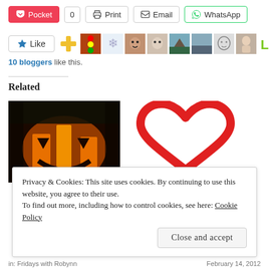[Figure (screenshot): Toolbar with sharing buttons: Pocket (with count 0), Print, Email, WhatsApp]
[Figure (screenshot): Like button with 10 blogger avatar thumbnails in a row, and text '10 bloggers like this.']
10 bloggers like this.
Related
[Figure (photo): Jack-o-lantern pumpkin glowing orange in the dark]
[Figure (illustration): Red heart outline / love icon on white background]
Privacy & Cookies: This site uses cookies. By continuing to use this website, you agree to their use.
To find out more, including how to control cookies, see here: Cookie Policy
Close and accept
in: Fridays with Robynn    February 14, 2012